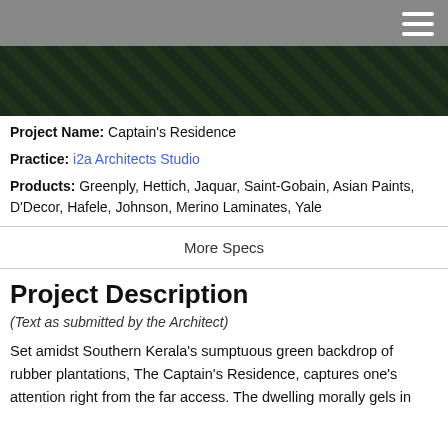[Figure (photo): Dark photo strip showing architectural/nature scene with green tones, possibly rubber plantation or building]
Project Name: Captain's Residence
Practice: i2a Architects Studio
Products: Greenply, Hettich, Jaquar, Saint-Gobain, Asian Paints, D'Decor, Hafele, Johnson, Merino Laminates, Yale
More Specs
Project Description
(Text as submitted by the Architect)
Set amidst Southern Kerala's sumptuous green backdrop of rubber plantations, The Captain's Residence, captures one's attention right from the far access. The dwelling morally gels in